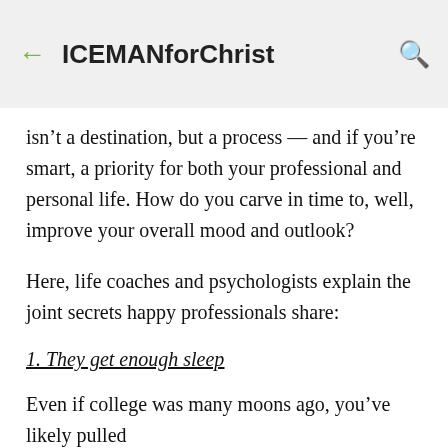ICEMANforChrist
isn’t a destination, but a process — and if you’re smart, a priority for both your professional and personal life. How do you carve in time to, well, improve your overall mood and outlook?
Here, life coaches and psychologists explain the joint secrets happy professionals share:
1. They get enough sleep
Even if college was many moons ago, you’ve likely pulled